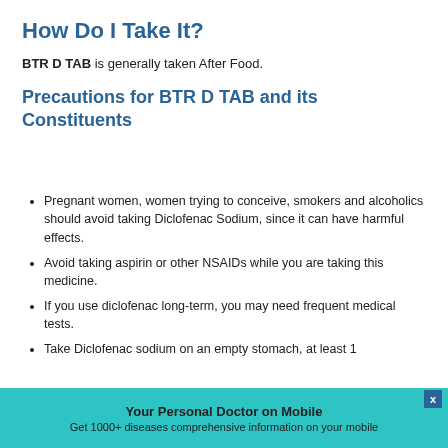How Do I Take It?
BTR D TAB is generally taken After Food.
Precautions for BTR D TAB and its Constituents
Pregnant women, women trying to conceive, smokers and alcoholics should avoid taking Diclofenac Sodium, since it can have harmful effects.
Avoid taking aspirin or other NSAIDs while you are taking this medicine.
If you use diclofenac long-term, you may need frequent medical tests.
Take Diclofenac sodium on an empty stomach, at least 1
Your Personal Doctor on Mobile
Get 1000+ diseases comprehensive information on your mobile